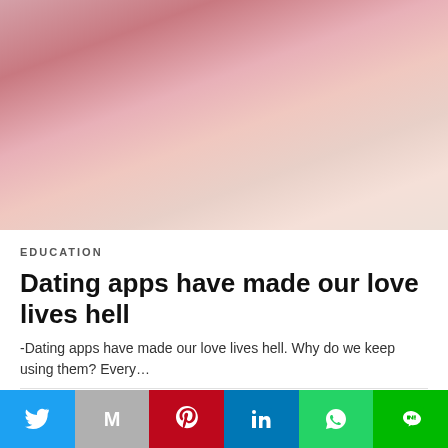[Figure (photo): Young Asian woman wearing glasses and pink lingerie, posed on a white bed]
EDUCATION
Dating apps have made our love lives hell
-Dating apps have made our love lives hell. Why do we keep using them? Every…
10 hours ago
Twitter | Gmail | Pinterest | LinkedIn | WhatsApp | Line